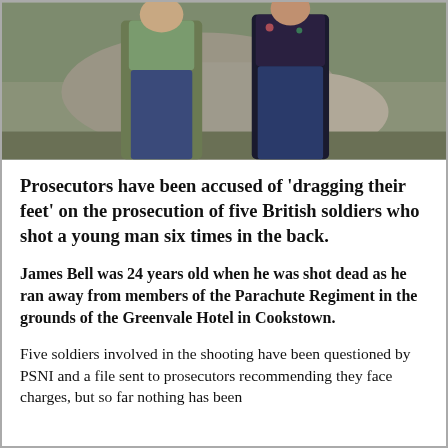[Figure (photo): Two people standing outdoors in front of a stone wall/rocky background. Person on left wearing an olive/khaki jacket and jeans. Person on right wearing a dark floral jacket and jeans.]
Prosecutors have been accused of 'dragging their feet' on the prosecution of five British soldiers who shot a young man six times in the back.
James Bell was 24 years old when he was shot dead as he ran away from members of the Parachute Regiment in the grounds of the Greenvale Hotel in Cookstown.
Five soldiers involved in the shooting have been questioned by PSNI and a file sent to prosecutors recommending they face charges, but so far nothing has been